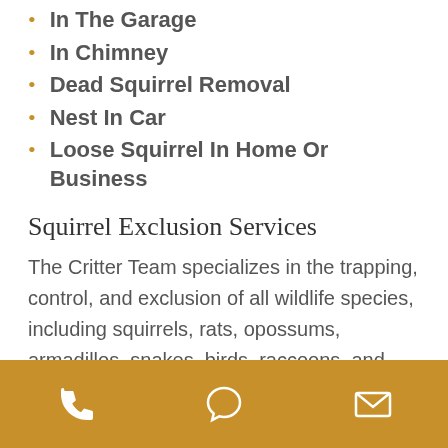In The Garage
In Chimney
Dead Squirrel Removal
Nest In Car
Loose Squirrel In Home Or Business
Squirrel Exclusion Services
The Critter Team specializes in the trapping, control, and exclusion of all wildlife species, including squirrels, rats, opossums, armadillos, snakes, birds, raccoons, and skunks. It doesn’t take much of a hole for a squirrel to get inside your home or business. A Critter
[Figure (infographic): Golden/amber footer bar with three white icons: phone handset, speech bubble/chat, and envelope/mail]